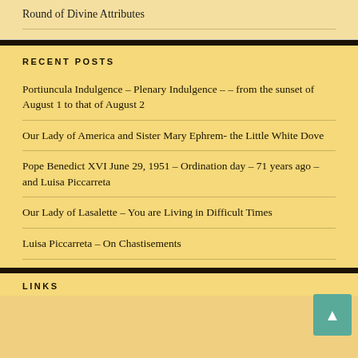Round of Divine Attributes
RECENT POSTS
Portiuncula Indulgence – Plenary Indulgence – – from the sunset of August 1 to that of August 2
Our Lady of America and Sister Mary Ephrem- the Little White Dove
Pope Benedict XVI June 29, 1951 – Ordination day – 71 years ago – and Luisa Piccarreta
Our Lady of Lasalette – You are Living in Difficult Times
Luisa Piccarreta – On Chastisements
LINKS